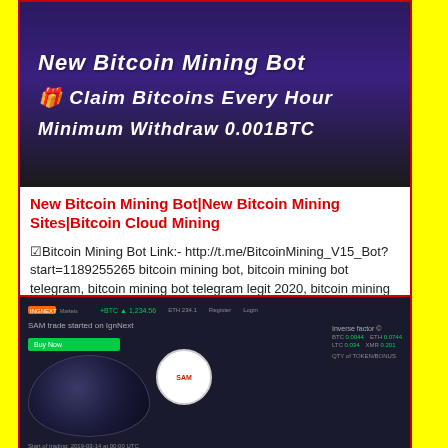[Figure (screenshot): Dark purple/black background thumbnail image with italic white bold text: 'New Bitcoin Mining Bot', emoji gift icon and 'Claim Bitcoins Every Hour', 'Minimum Withdraw 0.001BTC']
New Bitcoin Mining Bot|New Bitcoin Mining Sites|Bitcoin Cloud Mining
☑Bitcoin Mining Bot Link:- http://t.me/BitcoinMining_V15_Bot?start=1189255265 bitcoin mining bot, bitcoin mining bot telegram, bitcoin mining bot telegram legit 2020, bitcoin mining bot telegram payment proof, bitcoin mining botnet, bitcoin mining bot github, bitcoin mining bot software,
501 views
2 comments
[Figure (screenshot): Dark themed cryptocurrency website screenshot showing a globe graphic, SAM logo badge, green button, trading interface elements and data tables]